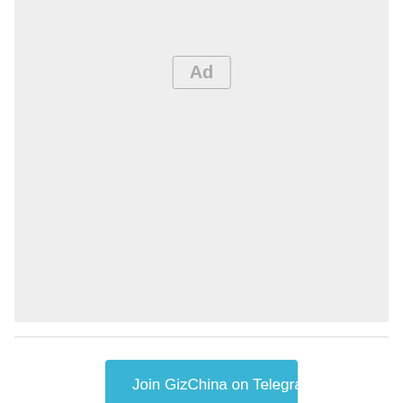[Figure (other): Advertisement placeholder box with light gray background and 'Ad' label in center]
Join GizChina on Telegram